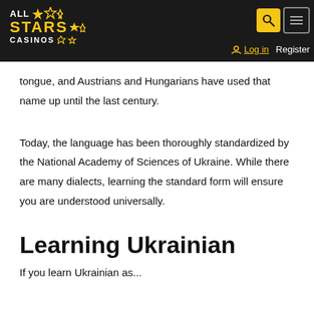ALL STARS CASINOS
tongue, and Austrians and Hungarians have used that name up until the last century.
Today, the language has been thoroughly standardized by the National Academy of Sciences of Ukraine. While there are many dialects, learning the standard form will ensure you are understood universally.
Learning Ukrainian
If you learn Ukrainian as...